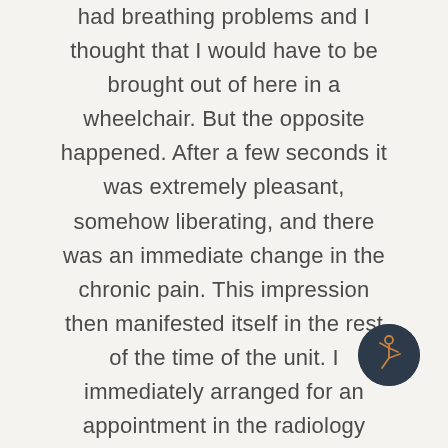had breathing problems and I thought that I would have to be brought out of here in a wheelchair. But the opposite happened. After a few seconds it was extremely pleasant, somehow liberating, and there was an immediate change in the chronic pain. This impression then manifested itself in the rest of the time of the unit. I immediately arranged for an appointment in the radiology department and lo and behold: There was nothing to be seen of the protruding bathroom pane, except that it was exactly where it belongs. In following days the pain picture changed drastically and now, four
[Figure (logo): Dark circular logo with a yoga/dancer figure in orange/gold on dark navy background]